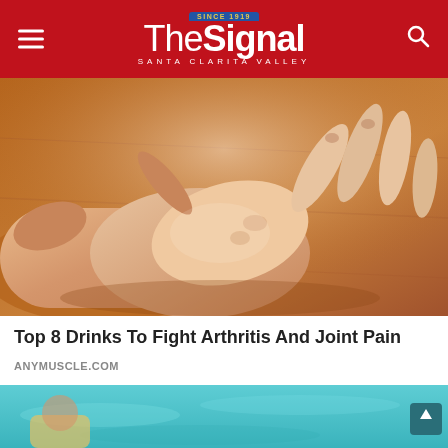The Signal — Santa Clarita Valley
[Figure (photo): Close-up photograph of hands performing a massage or applying pressure to a person's hand/wrist, suggesting arthritis or joint pain treatment. Warm skin tones on a brown wooden surface background.]
Top 8 Drinks To Fight Arthritis And Joint Pain
ANYMUSCLE.COM
[Figure (photo): Partial bottom strip image showing a teal/turquoise water or pool scene, partially visible.]